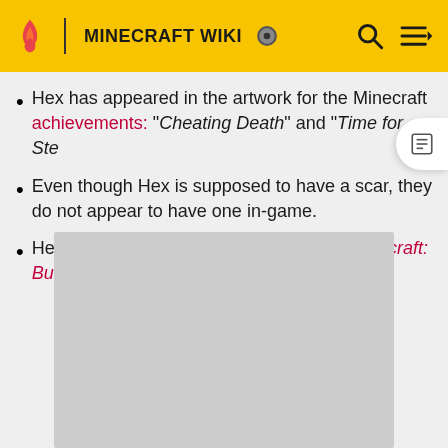MINECRAFT WIKI
Hex has appeared in the artwork for the Minecraft achievements: "Cheating Death" and "Time for Ste…
Even though Hex is supposed to have a scar, they do not appear to have one in-game.
Hex appears as a playable character in Minecraft: Builders & Biomes.
[Figure (other): Gray placeholder image box]